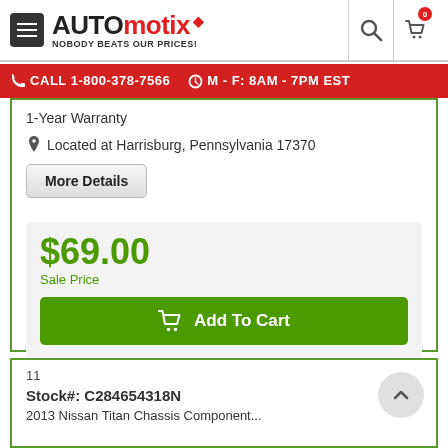[Figure (logo): Automotix logo with hamburger menu, search icon, and cart icon]
CALL 1-800-378-7566   M - F: 8AM - 7PM EST
1-Year Warranty
Located at Harrisburg, Pennsylvania 17370
More Details
$69.00 Sale Price
Add To Cart
Starting at $13/mo with affirm
11
Stock#: C284654318N